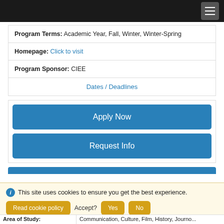Navigation bar with hamburger menu
Program Terms: Academic Year, Fall, Winter, Winter-Spring
Homepage: Click to visit
Program Sponsor: CIEE
Dates / Deadlines
Apply Now
Request Info
This site uses cookies to ensure you get the best experience.
Read cookie policy  Accept?  Yes  No
Area of Study:  Communication, Culture, Film, History, Journo...